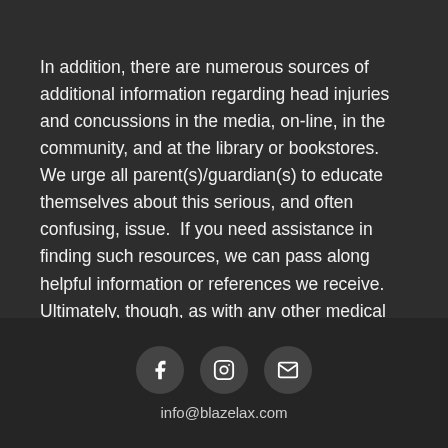In addition, there are numerous sources of additional information regarding head injuries and concussions in the media, on-line, in the community, and at the library or bookstores.  We urge all parent(s)/guardian(s) to educate themselves about this serious, and often confusing, issue.  If you need assistance in finding such resources, we can pass along helpful information or references we receive.  Ultimately, though, as with any other medical issue, it must be the responsibility of parent(s)/guardian(s) to determine whether to have testing, evaluation or treatment performed on their children.
[Figure (other): Social media icons row: Facebook, Instagram, Email, followed by info@blazelax.com email address]
info@blazelax.com